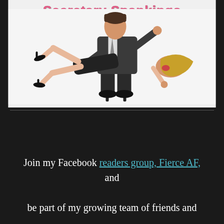[Figure (illustration): Book cover image with pink stylized title text at top reading 'Secretary Spankings' and an illustration of a man in a suit spanking a woman in office attire]
Join my Facebook readers group, Fierce AF, and
be part of my growing team of friends and